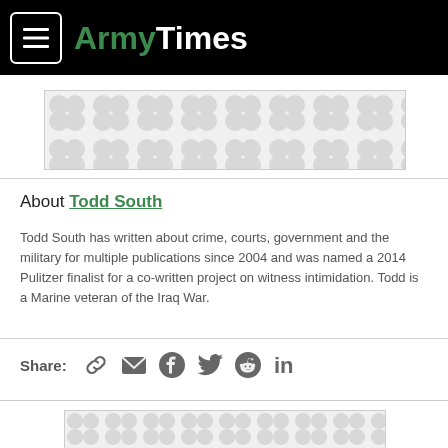ArmyTimes
[Figure (other): Advertisement placeholder with decorative pattern]
About Todd South
Todd South has written about crime, courts, government and the military for multiple publications since 2004 and was named a 2014 Pulitzer finalist for a co-written project on witness intimidation. Todd is a Marine veteran of the Iraq War.
Share: [link] [email] [facebook] [twitter] [reddit] [linkedin]
[Figure (other): Advertisement placeholder with decorative pattern at bottom]